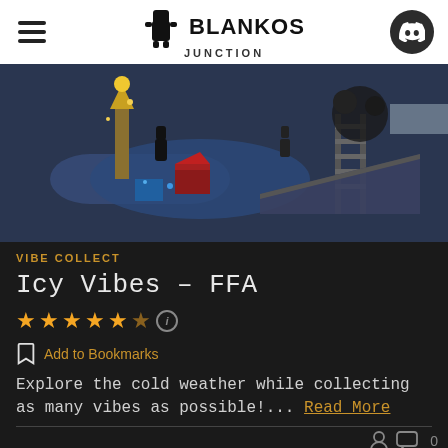Blankos Junction
[Figure (screenshot): 3D game environment screenshot showing colorful characters, structures, and a dark icy/winter scene with blocks and ladders]
VIBE COLLECT
Icy Vibes – FFA
★★★★★ (5 stars with info icon)
Add to Bookmarks
Explore the cold weather while collecting as many vibes as possible!... Read More
[Figure (illustration): Colorful gradient strip at the bottom of the page]